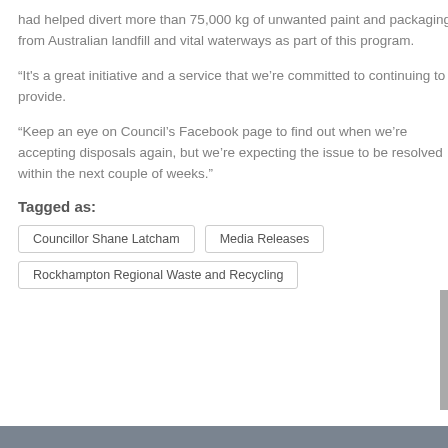had helped divert more than 75,000 kg of unwanted paint and packaging from Australian landfill and vital waterways as part of this program.
“It's a great initiative and a service that we’re committed to continuing to provide.
“Keep an eye on Council’s Facebook page to find out when we’re accepting disposals again, but we’re expecting the issue to be resolved within the next couple of weeks.”
Tagged as:
Councillor Shane Latcham
Media Releases
Rockhampton Regional Waste and Recycling